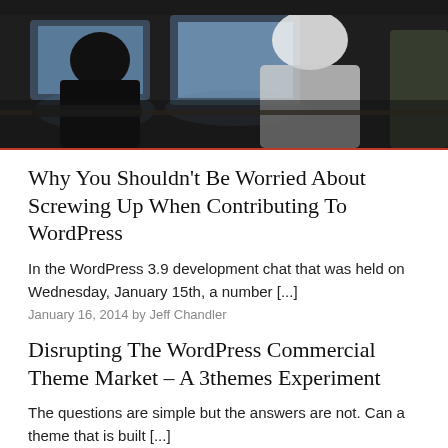[Figure (photo): People working at laptops in a darkened room/office environment]
Why You Shouldn’t Be Worried About Screwing Up When Contributing To WordPress
In the WordPress 3.9 development chat that was held on Wednesday, January 15th, a number [...]
January 16, 2014 by Jeff Chandler
Disrupting The WordPress Commercial Theme Market – A 3themes Experiment
The questions are simple but the answers are not. Can a theme that is built [...]